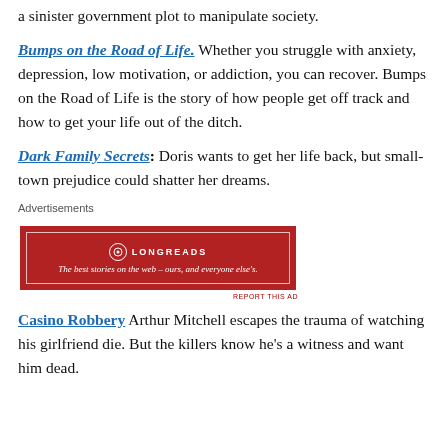a sinister government plot to manipulate society.
Bumps on the Road of Life. Whether you struggle with anxiety, depression, low motivation, or addiction, you can recover. Bumps on the Road of Life is the story of how people get off track and how to get your life out of the ditch.
Dark Family Secrets: Doris wants to get her life back, but small-town prejudice could shatter her dreams.
[Figure (other): Longreads advertisement banner: red background with white border, Longreads logo and tagline 'The best stories on the web – ours, and everyone else's.']
Casino Robbery Arthur Mitchell escapes the trauma of watching his girlfriend die. But the killers know he's a witness and want him dead.